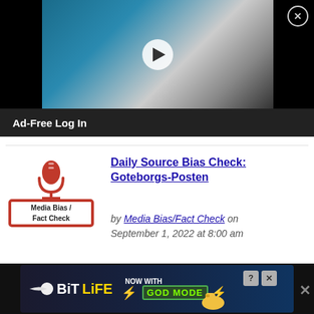[Figure (screenshot): Video thumbnail showing a man vaping/smoking an e-cigarette with smoke clouds, overlaid with a white play button circle. Black background on sides.]
Ad-Free Log In
[Figure (logo): Media Bias/Fact Check logo with red microphone icon and red-bordered box with text 'Media Bias / Fact Check']
Daily Source Bias Check: Goteborgs-Posten
by Media Bias/Fact Check on September 1, 2022 at 8:00 am
[Figure (screenshot): BitLife game advertisement banner with logo, 'NOW WITH GOD MODE' text, thumbs up graphic, and question/close buttons]